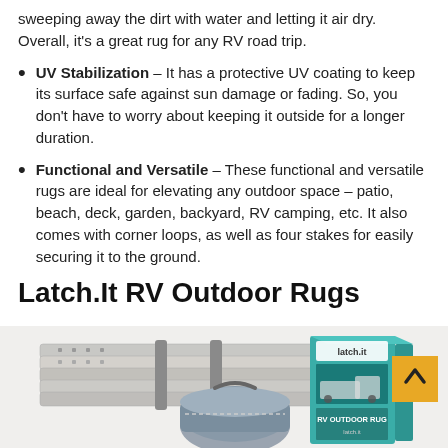sweeping away the dirt with water and letting it air dry. Overall, it's a great rug for any RV road trip.
UV Stabilization – It has a protective UV coating to keep its surface safe against sun damage or fading. So, you don't have to worry about keeping it outside for a longer duration.
Functional and Versatile – These functional and versatile rugs are ideal for elevating any outdoor space – patio, beach, deck, garden, backyard, RV camping, etc. It also comes with corner loops, as well as four stakes for easily securing it to the ground.
Latch.It RV Outdoor Rugs
[Figure (photo): Product photo showing folded Latch.It RV outdoor rugs stacked, a carrying bag, and the product box with 'latch.it RV OUTDOOR RUG' branding on a teal background with a gold scroll-to-top button overlay.]